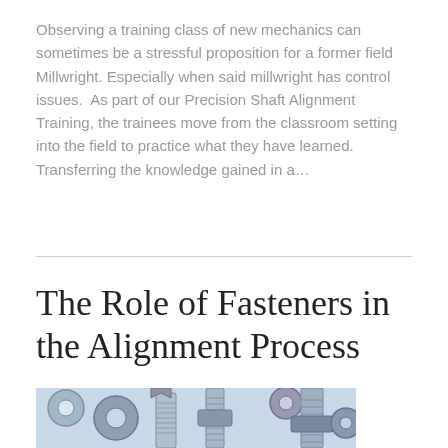Observing a training class of new mechanics can sometimes be a stressful proposition for a former field Millwright. Especially when said millwright has control issues.  As part of our Precision Shaft Alignment Training, the trainees move from the classroom setting into the field to practice what they have learned. Transferring the knowledge gained in a…
Read More
The Role of Fasteners in the Alignment Process
[Figure (photo): Close-up photo of metallic bolts, nuts, and fasteners in bluish-silver tones]